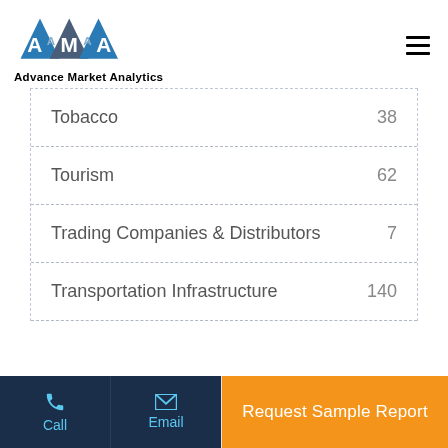[Figure (logo): Advance Market Analytics logo with blue triangular shapes and AMA lettering]
| Category | Count |
| --- | --- |
| Tobacco | 38 |
| Tourism | 62 |
| Trading Companies & Distributors | 7 |
| Transportation Infrastructure | 140 |
Call | Email | Request Sample Report